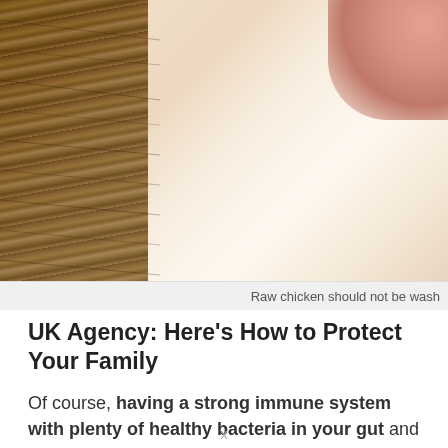[Figure (photo): Close-up photo of raw chicken on a wooden cutting board, showing skin texture with cream/beige tones. Wood grain visible on left, pink skin visible at upper right.]
Raw chicken should not be wash
UK Agency: Here’s How to Protect Your Family
Of course, having a strong immune system with plenty of healthy bacteria in your gut and consuming antibacterial foods such as garlic and coconut oil is the best way to keep harmful bacteria at bay.
But if you know someone who doesn’t eat healthy